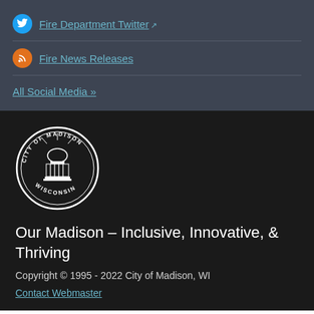Fire Department Twitter [external link]
Fire News Releases
All Social Media »
[Figure (logo): City of Madison Wisconsin circular seal/logo with capitol building illustration]
Our Madison – Inclusive, Innovative, & Thriving
Copyright © 1995 - 2022 City of Madison, WI
Contact Webmaster